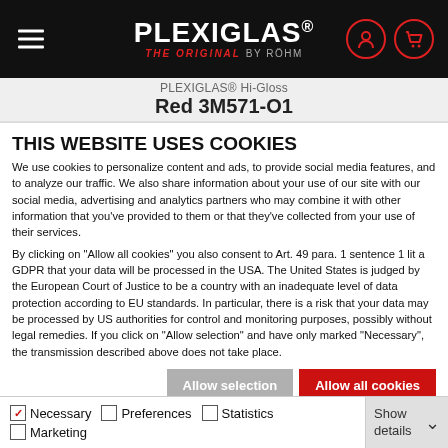PLEXIGLAS® THE ORIGINAL BY RÖHM
PLEXIGLAS® Hi-Gloss
Red 3M571-O1
THIS WEBSITE USES COOKIES
We use cookies to personalize content and ads, to provide social media features, and to analyze our traffic. We also share information about your use of our site with our social media, advertising and analytics partners who may combine it with other information that you've provided to them or that they've collected from your use of their services.
By clicking on "Allow all cookies" you also consent to Art. 49 para. 1 sentence 1 lit a GDPR that your data will be processed in the USA. The United States is judged by the European Court of Justice to be a country with an inadequate level of data protection according to EU standards. In particular, there is a risk that your data may be processed by US authorities for control and monitoring purposes, possibly without legal remedies. If you click on "Allow selection" and have only marked "Necessary", the transmission described above does not take place.
Allow selection | Allow all cookies
Necessary | Preferences | Statistics | Marketing | Show details